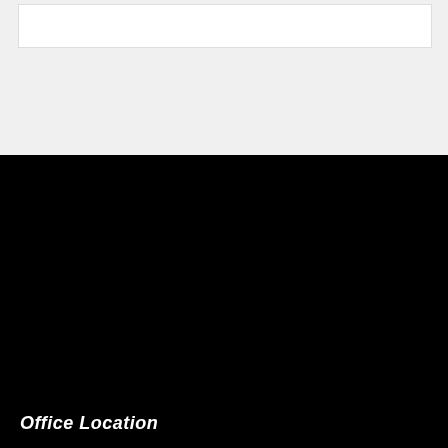[Figure (other): White box UI element on light gray background, likely a search or navigation bar area]
Office Location
LAW OFFICE OF CHRISTOPHER P. COX, LLC